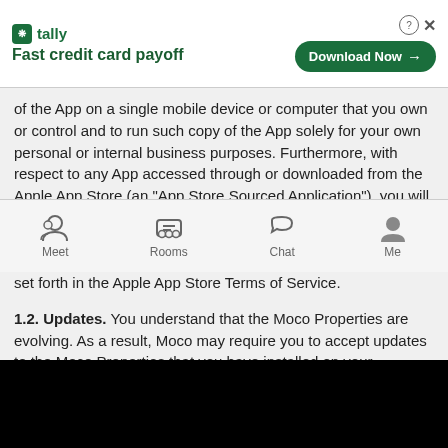[Figure (screenshot): Tally app advertisement banner with logo, 'Fast credit card payoff' tagline, and 'Download Now' button]
of the App on a single mobile device or computer that you own or control and to run such copy of the App solely for your own personal or internal business purposes. Furthermore, with respect to any App accessed through or downloaded from the Apple App Store (an "App Store Sourced Application"), you will only use the App Store Sourced Application (i) on an Apple-branded product that runs the iOS (Apple's proprietary operating system) and (ii) as permitted by the "Usage Rules" set forth in the Apple App Store Terms of Service.
1.2. Updates. You understand that the Moco Properties are evolving. As a result, Moco may require you to accept updates to the Moco Properties that you have installed on your computer or mobile device. You acknowledge and agree that Moco may update the Moco Properties with or without notifying you. You may need to update third-party software from time to time in order to use the Moco Properties.
1.3. Certain Restrictions. The rights granted to you in the Terms are
[Figure (screenshot): Mobile app navigation bar with Meet, Rooms, Chat, and Me icons]